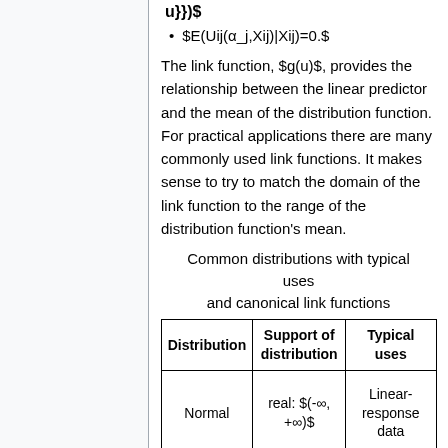u})$
$E(Uij(α_j,Xij)|Xij)=0.$
The link function, $g(u)$, provides the relationship between the linear predictor and the mean of the distribution function. For practical applications there are many commonly used link functions. It makes sense to try to match the domain of the link function to the range of the distribution function's mean.
Common distributions with typical uses and canonical link functions
| Distribution | Support of distribution | Typical uses |
| --- | --- | --- |
| Normal | real: $(-∞, +∞)$ | Linear-response data |
|  |  | Exponential- |